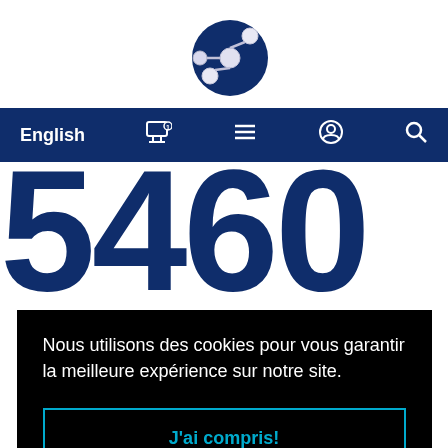[Figure (logo): Circular dark navy logo with molecular/atom structure showing white spheres connected by lines on a dark navy blue circle background]
English  🛒  ☰  👤  🔍
5460
Nous utilisons des cookies pour vous garantir la meilleure expérience sur notre site.
J'ai compris!
enamel damage and gently care for your teeth and